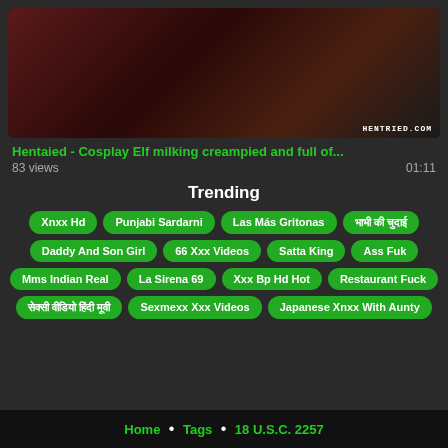[Figure (screenshot): Video thumbnail showing close-up image with HENTRIED.COM watermark]
Hentaied - Cosplay Elf milking creampied and full of...
83 views  01:11
Trending
Xnxx Hd
Punjabi Sardarni
Las Más Gritonas
भाभी की चुदाई
Daddy And Son Girl
66 Xxx Videos
Satta King
Ass Fuk
Mms Indian Real
La Sirena 69
Xxx Bp Hd Hot
Restaurant Fuck
सेक्सी वीडियो हिंदी मूवी
Sexmexx Xxx Videos
Japanese Xnxx With Aunty
Home • Tags • 18 U.S.C. 2257